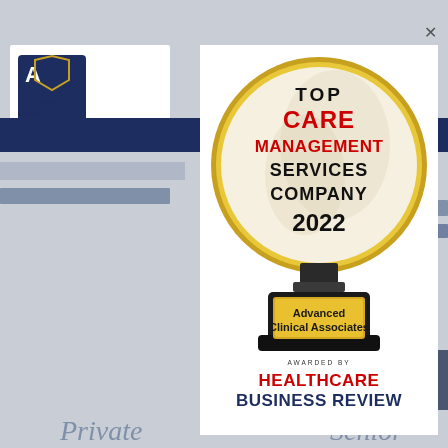[Figure (screenshot): Website background showing partial Advanced Clinical Associates logo, navigation bar, and page elements]
[Figure (illustration): Award trophy illustration: a gold-rimmed crystal globe on a dark base with a gold plaque reading 'Advanced Clinical Associates'. The globe contains the text 'TOP CARE MANAGEMENT SERVICES COMPANY 2022' in black and red. Below the trophy: 'AWARDED BY' in small caps, then 'HEALTHCARE BUSINESS REVIEW' in large bold red and navy text.]